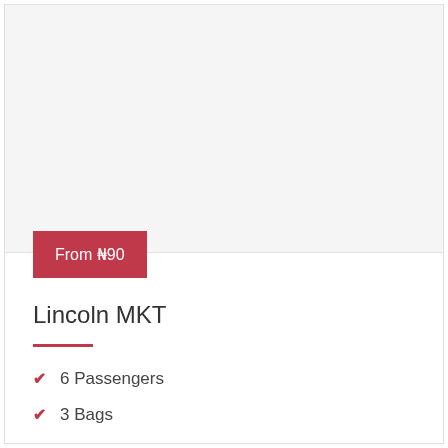[Figure (photo): Light gray placeholder image area for a vehicle photo]
From ₦90
Lincoln MKT
6 Passengers
3 Bags